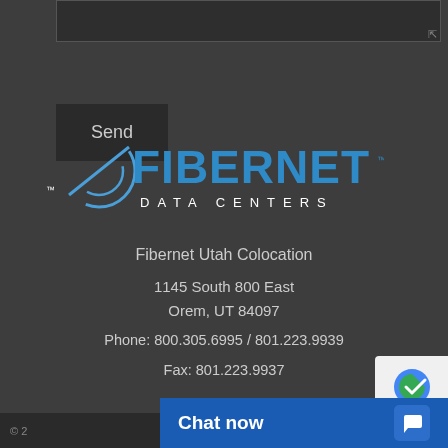[Figure (screenshot): Dark gray form area at top with a textarea input box and a Send button below it]
[Figure (logo): Fibernet Data Centers logo in blue with circular swoosh graphic and 'DATA CENTERS' text in spaced letters below]
Fibernet Utah Colocation
1145 South 800 East
Orem, UT 84097
Phone: 800.305.6995 / 801.223.9939
Fax: 801.223.9937
Sitemap
© ...
[Figure (screenshot): Chat now button bar in blue at bottom right with chat icon, and reCAPTCHA badge to the far right]